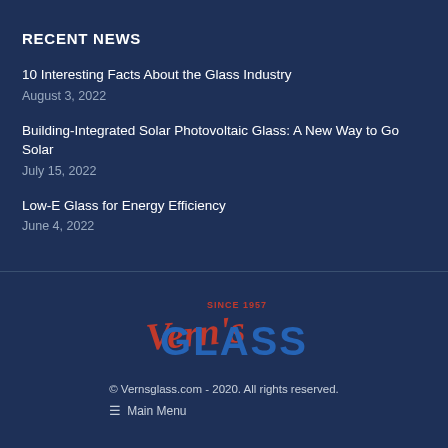RECENT NEWS
10 Interesting Facts About the Glass Industry
August 3, 2022
Building-Integrated Solar Photovoltaic Glass: A New Way to Go Solar
July 15, 2022
Low-E Glass for Energy Efficiency
June 4, 2022
[Figure (logo): Vern's Glass logo with red script 'Vern's', blue block letters 'GLASS', and 'SINCE 1957' text above]
© Vernsglass.com - 2020. All rights reserved.
☰ Main Menu